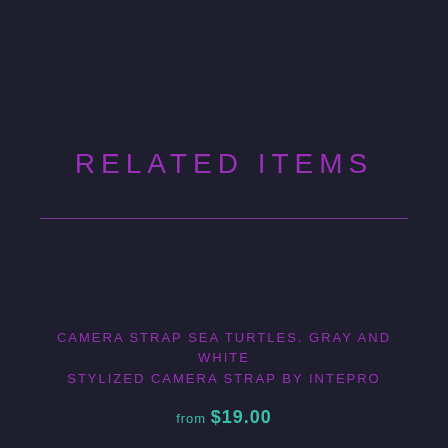RELATED ITEMS
CAMERA STRAP SEA TURTLES. GRAY AND WHITE STYLIZED CAMERA STRAP BY INTEPRO
from $19.00